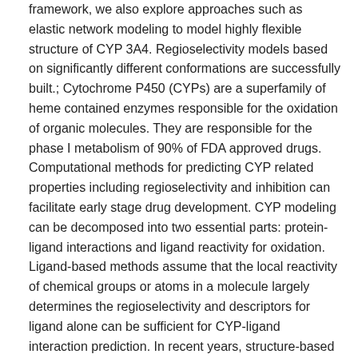framework, we also explore approaches such as elastic network modeling to model highly flexible structure of CYP 3A4. Regioselectivity models based on significantly different conformations are successfully built.; Cytochrome P450 (CYPs) are a superfamily of heme contained enzymes responsible for the oxidation of organic molecules. They are responsible for the phase I metabolism of 90% of FDA approved drugs. Computational methods for predicting CYP related properties including regioselectivity and inhibition can facilitate early stage drug development. CYP modeling can be decomposed into two essential parts: protein-ligand interactions and ligand reactivity for oxidation. Ligand-based methods assume that the local reactivity of chemical groups or atoms in a molecule largely determines the regioselectivity and descriptors for ligand alone can be sufficient for CYP-ligand interaction prediction. In recent years, structure-based methods that utilize CYP-ligand binding modes have been proposed to increase the prediction accuracy of ligand-based models. However, traditional protocols that utilize docking poses based on lowest docking scores are not effective. Multiple favorable binding conformations, instead of single conformations, may collectively determine the endpoints including regioselectivity and inhibition potency. How to extract descriptors from docking and incorporate multiple conformations remains largely unexplored.